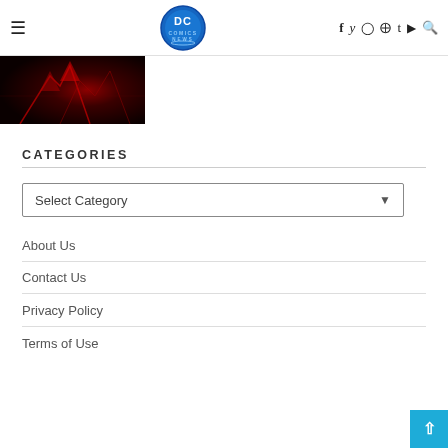DC Comics News navigation header with hamburger menu, DC Comics News logo, social icons (f, twitter, instagram, pinterest, t, youtube, search)
[Figure (photo): Dark red and black hero image strip, partially visible, featuring stylized superhero imagery]
CATEGORIES
Select Category
About Us
Contact Us
Privacy Policy
Terms of Use